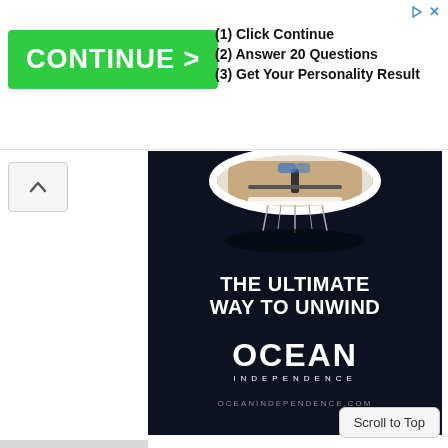[Figure (screenshot): Ad banner with green CONTINUE > button on left and three steps on right: (1) Click Continue, (2) Answer 20 Questions, (3) Get Your Personality Result. Small triangle and X icons in top right corner.]
[Figure (illustration): Scroll up arrow button on left side of page, a small white caret/chevron pointing upward inside a light gray rounded rectangle.]
[Figure (photo): Ocean Independence advertisement on dark navy/black background. Top portion shows aerial/top-down view of a sailboat on dark water. Center text reads THE ULTIMATE WAY TO UNWIND in bold white uppercase. Below that the OCEAN INDEPENDENCE logo with OCEANINDEPENDENCE.COM website URL at bottom.]
Scroll to Top